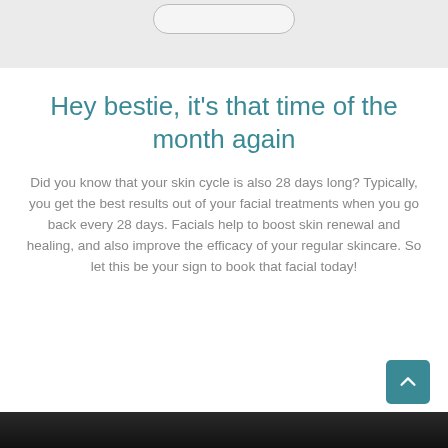Hey bestie, it's that time of the month again
Did you know that your skin cycle is also 28 days long? Typically, you get the best results out of your facial treatments when you go back every 28 days. Facials help to boost skin renewal and healing, and also improve the efficacy of your regular skincare. So let this be your sign to book that facial today!